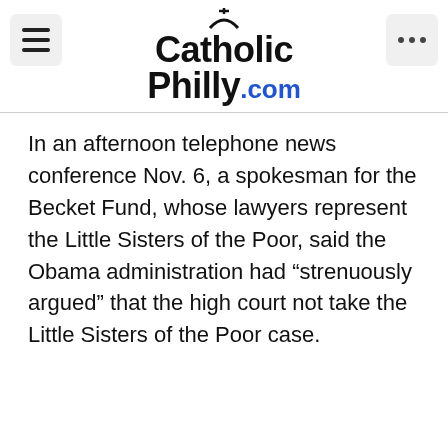CatholicPhilly.com
In an afternoon telephone news conference Nov. 6, a spokesman for the Becket Fund, whose lawyers represent the Little Sisters of the Poor, said the Obama administration had “strenuously argued” that the high court not take the Little Sisters of the Poor case.